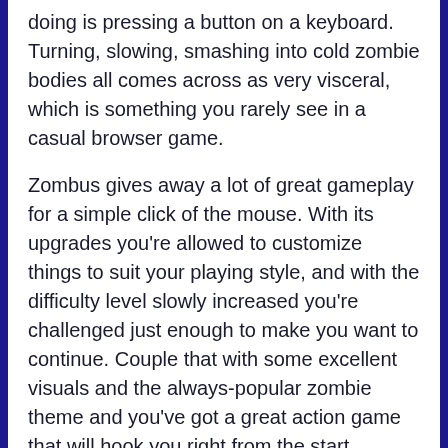doing is pressing a button on a keyboard. Turning, slowing, smashing into cold zombie bodies all comes across as very visceral, which is something you rarely see in a casual browser game.
Zombus gives away a lot of great gameplay for a simple click of the mouse. With its upgrades you're allowed to customize things to suit your playing style, and with the difficulty level slowly increased you're challenged just enough to make you want to continue. Couple that with some excellent visuals and the always-popular zombie theme and you've got a great action game that will hook you right from the start.
[Figure (other): Orange gradient button with rounded corners and dark border, containing the text 'Play Zombus' in large bold dark font.]